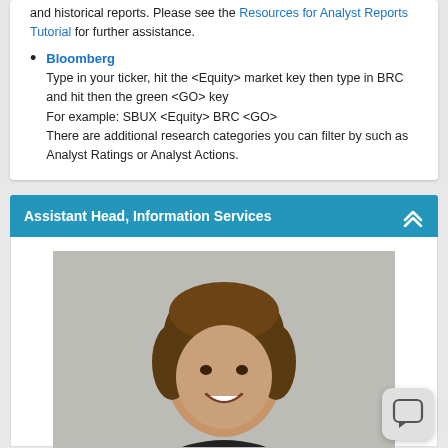and historical reports. Please see the Resources for Analyst Reports Tutorial for further assistance.
Bloomberg
Type in your ticker, hit the <Equity> market key then type in BRC and hit then the green <GO> key
For example: SBUX <Equity> BRC <GO>
There are additional research categories you can filter by such as Analyst Ratings or Analyst Actions.
Assistant Head, Information Services
[Figure (photo): Professional headshot photo of a woman with short brown hair, smiling, wearing a dark jacket, against a gray background.]